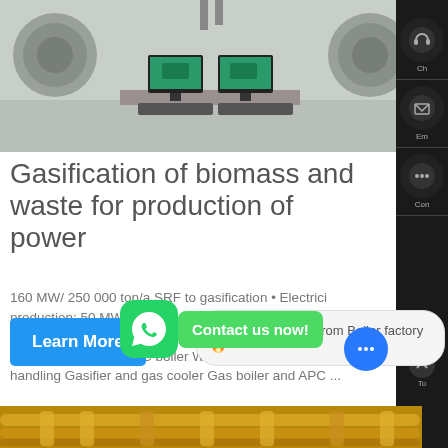[Figure (photo): Industrial facility interior with computers/monitors on desks and large machinery in the background]
Gasification of biomass and waste for production of power
160 MW/ 250 000 ton/a SRF to gasification • Electricity production: 50 MW • District heating: 90 MW • Electrical efficiency (net): 31% • Total ... Claes Breitholtz Old PC boiler Waste fuel receiving & handling Gasifier and gas cooler Gas boiler and APC ...
[Figure (screenshot): WhatsApp icon green rounded square with phone handset, alongside green bubble saying Contact us now!]
Learn More
Hello, Helen here, from Boiler factory 🔥
[Figure (photo): Bottom strip showing yellow/gold industrial pipes or cables]